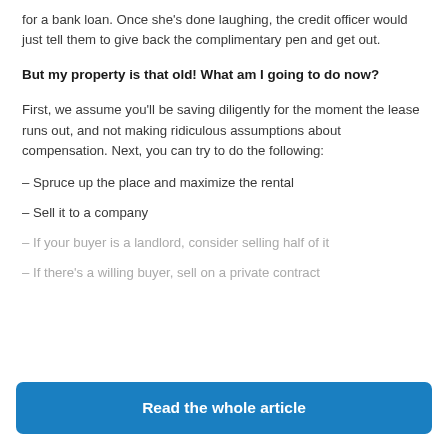for a bank loan. Once she's done laughing, the credit officer would just tell them to give back the complimentary pen and get out.
But my property is that old! What am I going to do now?
First, we assume you'll be saving diligently for the moment the lease runs out, and not making ridiculous assumptions about compensation. Next, you can try to do the following:
– Spruce up the place and maximize the rental
– Sell it to a company
– If your buyer is a landlord, consider selling half of it
– If there's a willing buyer, sell on a private contract
Read the whole article